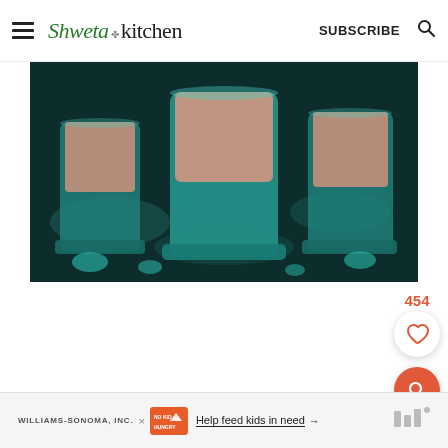Shweta in Kitchen | SUBSCRIBE
[Figure (photo): Close-up of shot glasses containing a layered drink — pink/mauve top layer over teal/green bottom layer — arranged on a dark surface with teal-colored ice/stones.]
454
[Figure (infographic): Heart icon (save/favorite button) in white circle, and orange search icon in orange circle]
[Figure (infographic): Ad banner: WILLIAMS-SONOMA, INC. x NO KID HUNGRY — Help feed kids in need → with logo on right]